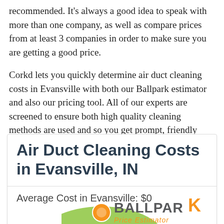recommended. It's always a good idea to speak with more than one company, as well as compare prices from at least 3 companies in order to make sure you are getting a good price.
Corkd lets you quickly determine air duct cleaning costs in Evansville with both our Ballpark estimator and also our pricing tool. All of our experts are screened to ensure both high quality cleaning methods are used and so you get prompt, friendly service every time.
Air Duct Cleaning Costs in Evansville, IN
Average Cost in Evansville: $0
[Figure (logo): Ballpark Price Estimator logo with orange circle icon, green hill graphic, and orange/grey text]